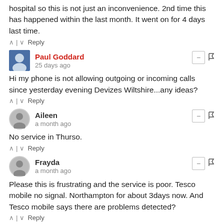hospital so this is not just an inconvenience. 2nd time this has happened within the last month. It went on for 4 days last time.
^ | v Reply
Paul Goddard
25 days ago
Hi my phone is not allowing outgoing or incoming calls since yesterday evening Devizes Wiltshire...any ideas?
^ | v Reply
Aileen
a month ago
No service in Thurso.
^ | v Reply
Frayda
a month ago
Please this is frustrating and the service is poor. Tesco mobile no signal. Northampton for about 3days now. And Tesco mobile says there are problems detected?
^ | v Reply